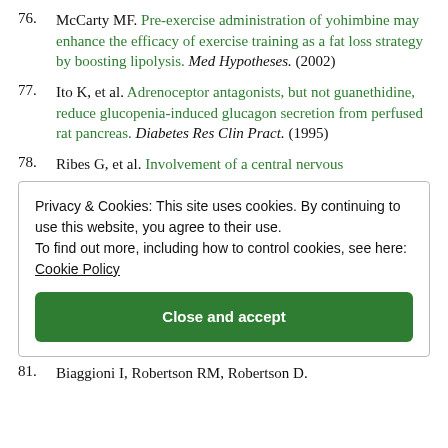76. McCarty MF. Pre-exercise administration of yohimbine may enhance the efficacy of exercise training as a fat loss strategy by boosting lipolysis. Med Hypotheses. (2002)
77. Ito K, et al. Adrenoceptor antagonists, but not guanethidine, reduce glucopenia-induced glucagon secretion from perfused rat pancreas. Diabetes Res Clin Pract. (1995)
78. Ribes G, et al. Involvement of a central nervous
Privacy & Cookies: This site uses cookies. By continuing to use this website, you agree to their use. To find out more, including how to control cookies, see here: Cookie Policy
Close and accept
81. Biaggioni I, Robertson RM, Robertson D.